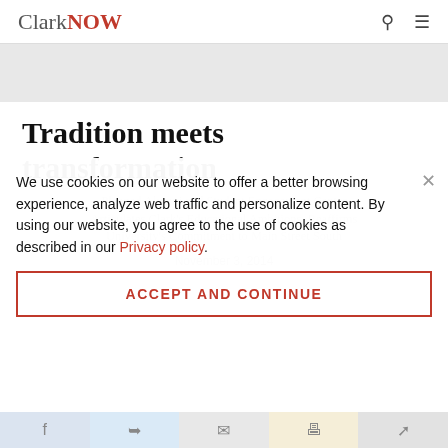ClarkNOW
[Figure (other): Gray banner area, likely a hero image placeholder]
Tradition meets transformation
Planned Alumni and Student Engagement Center Articulates Clark's Educational Ambitions, Reaffirms University's Commitment to Main Street South
November 3, 2014
By Jim Keogh
We use cookies on our website to offer a better browsing experience, analyze web traffic and personalize content. By using our website, you agree to the use of cookies as described in our Privacy policy.
ACCEPT AND CONTINUE